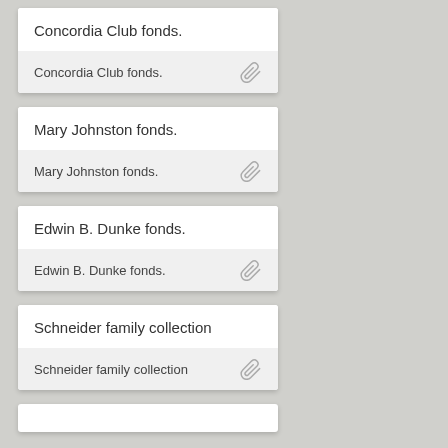Concordia Club fonds.
Concordia Club fonds.
Mary Johnston fonds.
Mary Johnston fonds.
Edwin B. Dunke fonds.
Edwin B. Dunke fonds.
Schneider family collection
Schneider family collection